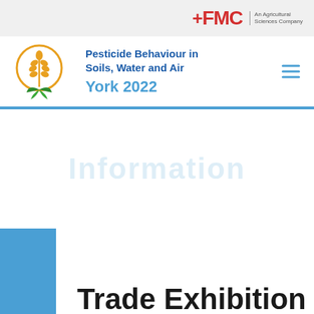FMC An Agricultural Sciences Company
Pesticide Behaviour in Soils, Water and Air
York 2022
Information
Trade Exhibition